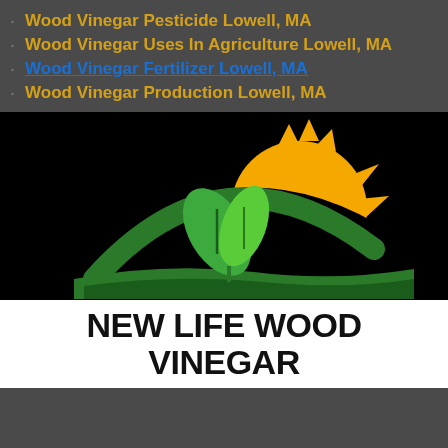Wood Vinegar Pesticide Lowell, MA
Wood Vinegar Uses In Agriculture Lowell, MA
Wood Vinegar Fertilizer Lowell, MA
Wood Vinegar Production Lowell, MA
[Figure (logo): New Life Wood Vinegar logo: black background with a green arch and two green leaves in center, an orange/yellow sun rising behind the arch on the right side. Below in white background: bold black text reading NEW LIFE WOOD VINEGAR.]